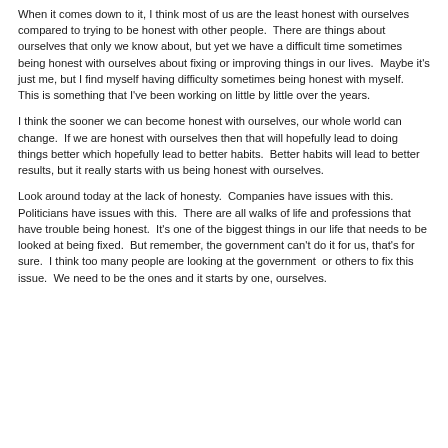When it comes down to it, I think most of us are the least honest with ourselves compared to trying to be honest with other people.  There are things about ourselves that only we know about, but yet we have a difficult time sometimes being honest with ourselves about fixing or improving things in our lives.  Maybe it's just me, but I find myself having difficulty sometimes being honest with myself.  This is something that I've been working on little by little over the years.
I think the sooner we can become honest with ourselves, our whole world can change.  If we are honest with ourselves then that will hopefully lead to doing things better which hopefully lead to better habits.  Better habits will lead to better results, but it really starts with us being honest with ourselves.
Look around today at the lack of honesty.  Companies have issues with this.  Politicians have issues with this.  There are all walks of life and professions that have trouble being honest.  It's one of the biggest things in our life that needs to be looked at being fixed.  But remember, the government can't do it for us, that's for sure.  I think too many people are looking at the government  or others to fix this issue.  We need to be the ones and it starts by one, ourselves.